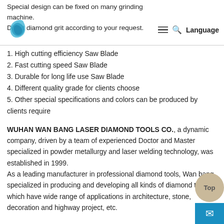Special design can be fixed on many grinding machine. Different diamond grit according to your request. Language
1. High cutting efficiency Saw Blade
2. Fast cutting speed Saw Blade
3. Durable for long life use Saw Blade
4. Different quality grade for clients choose
5. Other special specifications and colors can be produced by clients require
WUHAN WAN BANG LASER DIAMOND TOOLS CO., a dynamic company, driven by a team of experienced Doctor and Master specialized in powder metallurgy and laser welding technology, was established in 1999. As a leading manufacturer in professional diamond tools, Wan bang specialized in producing and developing all kinds of diamond tools which have wide range of applications in architecture, stone, decoration and highway project, etc.